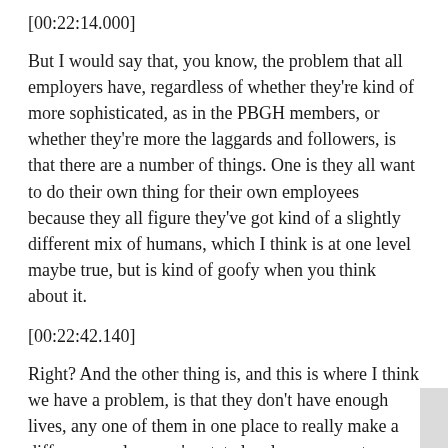[00:22:14.000]
But I would say that, you know, the problem that all employers have, regardless of whether they're kind of more sophisticated, as in the PBGH members, or whether they're more the laggards and followers, is that there are a number of things. One is they all want to do their own thing for their own employees because they all figure they've got kind of a slightly different mix of humans, which I think is at one level maybe true, but is kind of goofy when you think about it.
[00:22:42.140]
Right? And the other thing is, and this is where I think we have a problem, is that they don't have enough lives, any one of them in one place to really make a difference unless you're state local government or you're Disney and you got 100,000 people in the theme park in LA or South Florida. So that lack of firepower locally has frustrated them and,